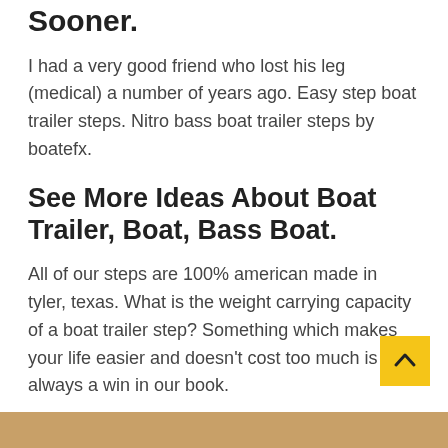Sooner.
I had a very good friend who lost his leg (medical) a number of years ago. Easy step boat trailer steps. Nitro bass boat trailer steps by boatefx.
See More Ideas About Boat Trailer, Boat, Bass Boat.
All of our steps are 100% american made in tyler, texas. What is the weight carrying capacity of a boat trailer step? Something which makes your life easier and doesn't cost too much is always a win in our book.
Tags: boat steps trailer
[Figure (photo): Bottom strip showing partial image]